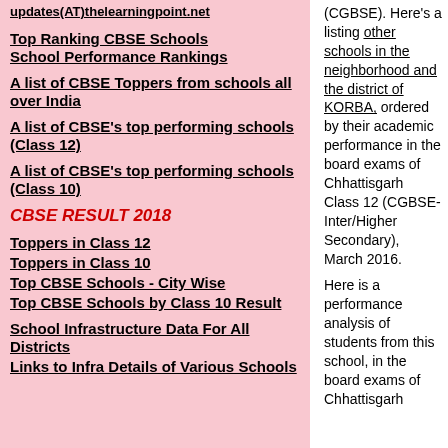updates(AT)thelearningpoint.net
Top Ranking CBSE Schools
School Performance Rankings
A list of CBSE Toppers from schools all over India
A list of CBSE's top performing schools (Class 12)
A list of CBSE's top performing schools (Class 10)
CBSE RESULT 2018
Toppers in Class 12
Toppers in Class 10
Top CBSE Schools - City Wise
Top CBSE Schools by Class 10 Result
School Infrastructure Data For All Districts
Links to Infra Details of Various Schools
(CGBSE). Here's a listing other schools in the neighborhood and the district of KORBA, ordered by their academic performance in the board exams of Chhattisgarh Class 12 (CGBSE-Inter/Higher Secondary), March 2016.
Here is a performance analysis of students from this school, in the board exams of Chhattisgarh